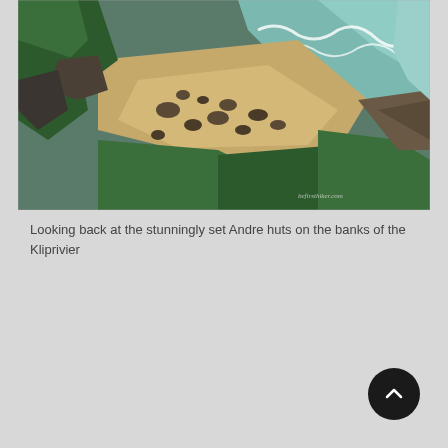[Figure (photo): Aerial drone photograph looking down at a rocky coastal beach with sandy shoreline, green vegetation/shrubs on rocks, turquoise ocean water with white surf, and scattered dark rocks on the sand. The scene shows the Kliprivier banks area with Andre huts visible.]
Looking back at the stunningly set Andre huts on the banks of the Kliprivier